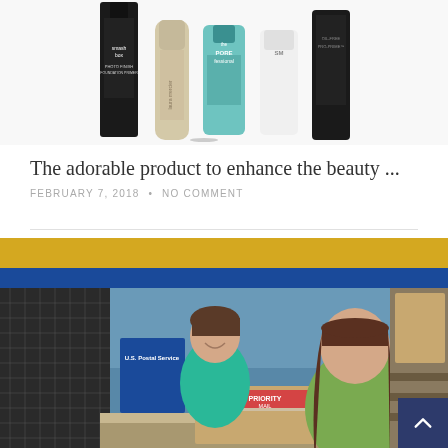[Figure (photo): Multiple cosmetic primer/foundation product bottles lined up against a white background. Brands include Smashbox, Laura Mercier, Benefit (The POREfessional), and others.]
The adorable product to enhance the beauty ...
FEBRUARY 7, 2018 • NO COMMENT
[Figure (photo): Two people at a post office counter. A child in a teal shirt stands behind the counter smiling, while a woman in a green top brings a USPS Priority Mail box to the counter. Post office interior visible with blue and yellow walls.]
Elkhart got your mail: send and deliver